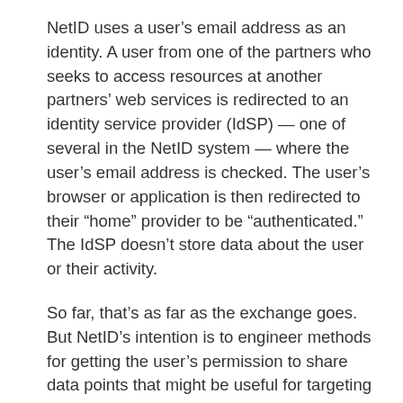NetID uses a user's email address as an identity. A user from one of the partners who seeks to access resources at another partners' web services is redirected to an identity service provider (IdSP) — one of several in the NetID system — where the user's email address is checked. The user's browser or application is then redirected to their “home” provider to be “authenticated.” The IdSP doesn’t store data about the user or their activity.
So far, that’s as far as the exchange goes.  But NetID’s intention is to engineer methods for getting the user’s permission to share data points that might be useful for targeting advertising or personalized content.  The tricky part is how to do that under the requirements of consent of the General Data Protection Regulation (GDPR). The NetID Enterprise and NetID Professional